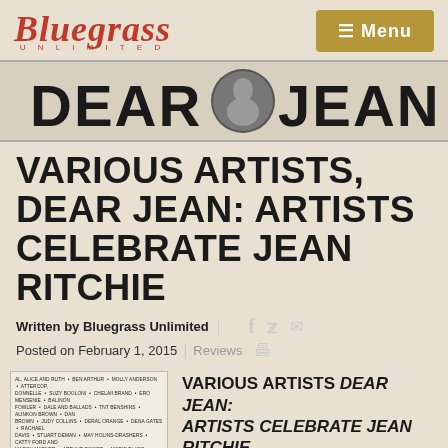Bluegrass Unlimited | Menu
[Figure (photo): Dear Jean banner with photo of Jean Ritchie in center circle, black text on light background]
VARIOUS ARTISTS, DEAR JEAN: ARTISTS CELEBRATE JEAN RITCHIE
Written by Bluegrass Unlimited | Posted on February 1, 2015 | Reviews
[Figure (photo): Album cover for 'Dear Jean: Artists Celebrate Jean Ritchie' — list of artist credits at top, Dear Jean banner at bottom on dark background]
VARIOUS ARTISTS DEAR JEAN: ARTISTS CELEBRATE JEAN RITCHIE